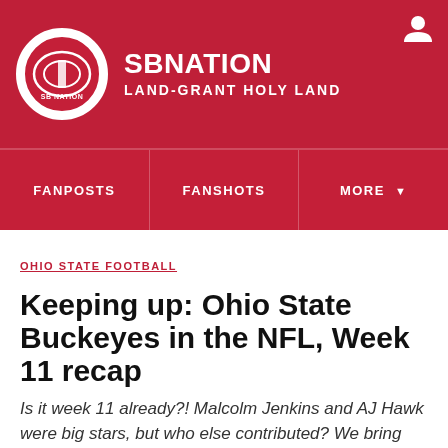SB NATION LAND-GRANT HOLY LAND
FANPOSTS | FANSHOTS | MORE
OHIO STATE FOOTBALL
Keeping up: Ohio State Buckeyes in the NFL, Week 11 recap
Is it week 11 already?! Malcolm Jenkins and AJ Hawk were big stars, but who else contributed? We bring you an update on all doings of former Buckeyes in the The League this week.
By Cincinnati Buckeye | Nov 20, 2012, 10:01am EST